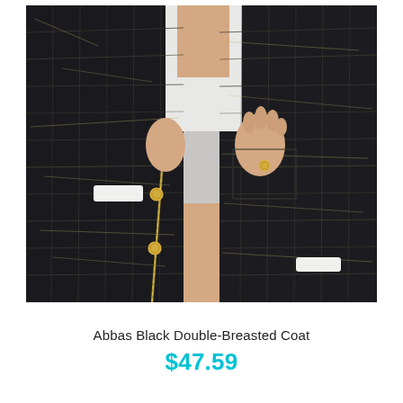[Figure (photo): A woman wearing a black double-breasted tweed coat with gold buttons and metallic thread pattern, holding the coat open. White blouse visible underneath. Close-up torso and legs shot against a light gray background.]
Abbas Black Double-Breasted Coat
$47.59